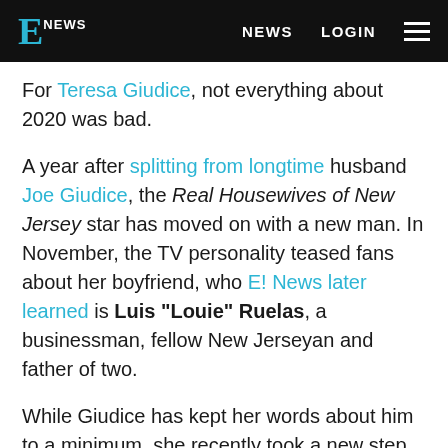E! NEWS   NEWS   LOGIN
For Teresa Giudice, not everything about 2020 was bad.
A year after splitting from longtime husband Joe Giudice, the Real Housewives of New Jersey star has moved on with a new man. In November, the TV personality teased fans about her boyfriend, who E! News later learned is Luis "Louie" Ruelas, a businessman, fellow New Jerseyan and father of two.
While Giudice has kept her words about him to a minimum, she recently took a new step in their romance—by going Instagram official. On Tuesday,